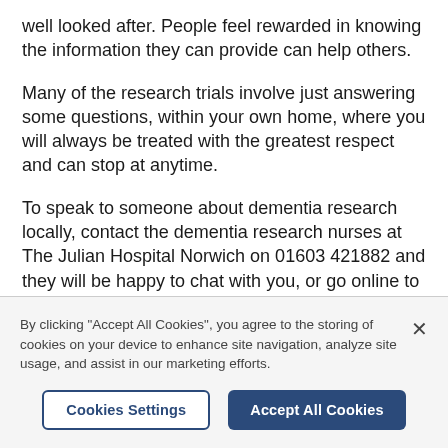well looked after. People feel rewarded in knowing the information they can provide can help others.
Many of the research trials involve just answering some questions, within your own home, where you will always be treated with the greatest respect and can stop at anytime.
To speak to someone about dementia research locally, contact the dementia research nurses at The Julian Hospital Norwich on 01603 421882 and they will be happy to chat with you, or go online to the 'join dementia research' website at
By clicking "Accept All Cookies", you agree to the storing of cookies on your device to enhance site navigation, analyze site usage, and assist in our marketing efforts.